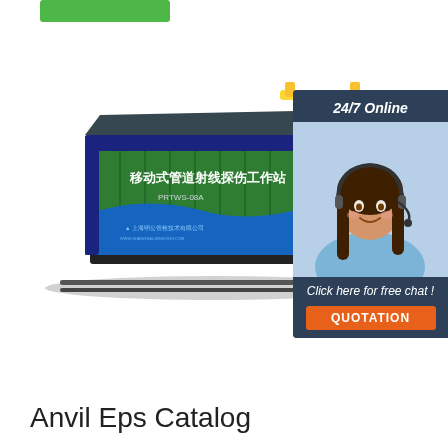[Figure (illustration): Green button/banner element at top left]
[Figure (illustration): 3D render of a green mobile pipeline radiographic inspection workstation container (移动式管道射线探伤工作站 PRTWS-08A) on rails, with yellow crane mechanism on top, showing Chinese text and company logo]
[Figure (illustration): Chat widget showing a woman with headset, labeled '24/7 Online', with 'Click here for free chat!' text and orange QUOTATION button]
Anvil Eps Catalog